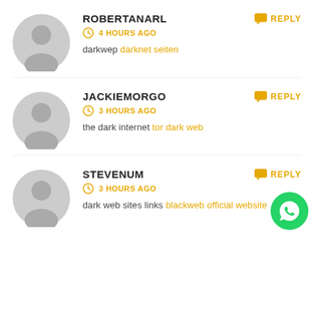ROBERTANARL — REPLY — 4 HOURS AGO — darkwep darknet seiten
JACKIEMORGO — REPLY — 3 HOURS AGO — the dark internet tor dark web
STEVENUM — REPLY — 3 HOURS AGO — dark web sites links blackweb official website